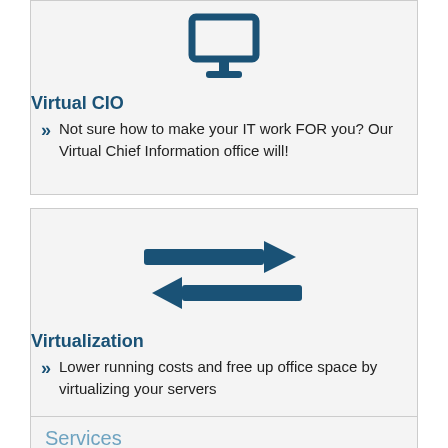[Figure (illustration): Dark blue monitor/computer icon]
Virtual CIO
Not sure how to make your IT work FOR you? Our Virtual Chief Information office will!
[Figure (illustration): Dark blue transfer arrows icon (two horizontal arrows pointing in opposite directions)]
Virtualization
Lower running costs and free up office space by virtualizing your servers
Services